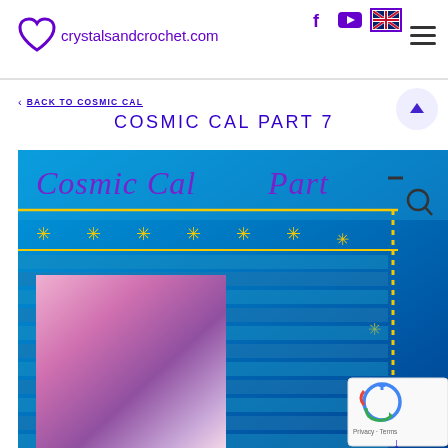crystalsandcrochet.com
< BACK TO COSMIC CAL
COSMIC CAL PART 7
[Figure (photo): A crochet blanket with blue background, yellow star embellishments along the top border, a yellow dotted vertical border on the right, and colorful (pink, purple, lavender) square pattern in the bottom-left. Title overlay reads 'Cosmic Cal Part' in purple italic script.]